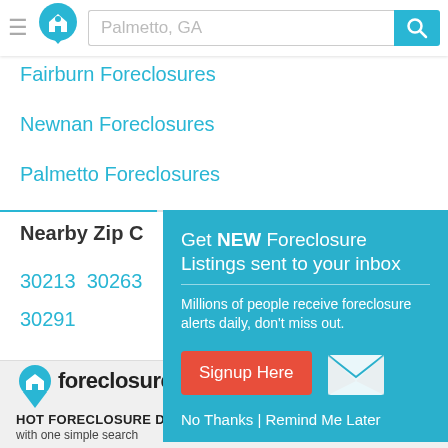Palmetto, GA [search bar]
Fairburn Foreclosures
Newnan Foreclosures
Palmetto Foreclosures
Nearby Zip C...
30213  30263  30291
[Figure (infographic): Popup modal with teal background: 'Get NEW Foreclosure Listings sent to your inbox'. Description: 'Millions of people receive foreclosure alerts daily, don't miss out.' Button: 'Signup Here'. Links: 'No Thanks | Remind Me Later'. White envelope icon.]
foreclosure.com HOT FORECLOSURE DEALS with one simple search